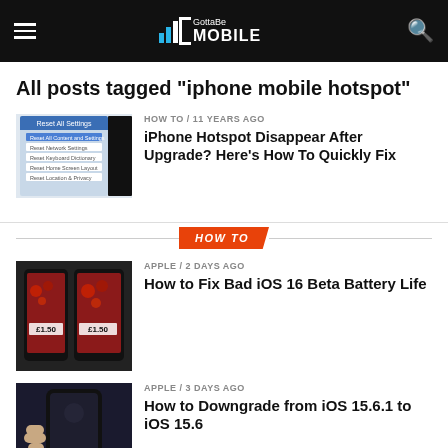GottaBe MOBILE
All posts tagged "iphone mobile hotspot"
HOW TO / 11 years ago
iPhone Hotspot Disappear After Upgrade? Here's How To Quickly Fix
HOW TO
APPLE / 2 days ago
How to Fix Bad iOS 16 Beta Battery Life
APPLE / 3 days ago
How to Downgrade from iOS 15.6.1 to iOS 15.6